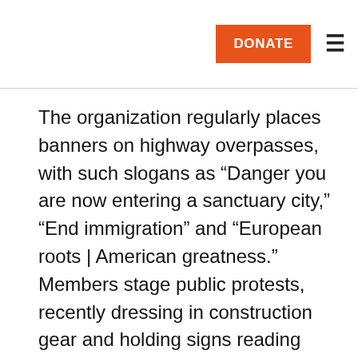DONATE ≡
The organization regularly places banners on highway overpasses, with such slogans as “Danger you are now entering a sanctuary city,” “End immigration” and “European roots | American greatness.” Members stage public protests, recently dressing in construction gear and holding signs reading “Build the Wall” outside the Mexican Consulate in New York City.
But Identity Evropa focuses most of its recruitment on college campuses, which it sees as the last battlegrounds, places where young